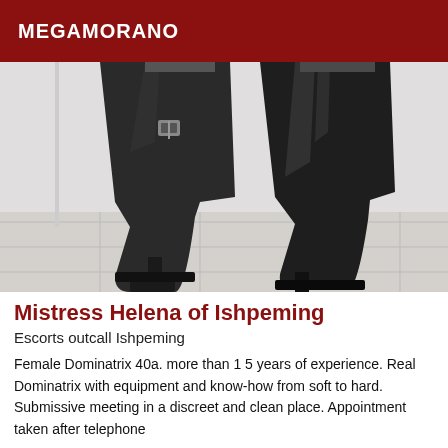MEGAMORANO
[Figure (photo): Close-up photo of legs wearing tall black high-heeled platform boots, photographed from the thighs down, standing on white tile floor against a white wall]
Mistress Helena of Ishpeming
Escorts outcall Ishpeming
Female Dominatrix 40a. more than 1 5 years of experience. Real Dominatrix with equipment and know-how from soft to hard. Submissive meeting in a discreet and clean place. Appointment taken after telephone